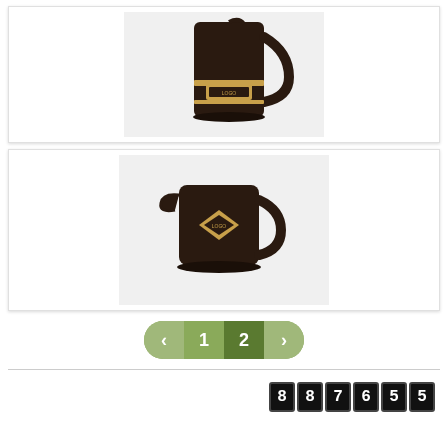[Figure (photo): Dark brown ceramic pitcher/mug with a gold label/badge, photographed against a white background. The pitcher has a tall cylindrical shape with a handle and decorative band.]
[Figure (photo): Dark brown ceramic creamer/pitcher with a gold diamond-shaped label, photographed against a white background. Shorter and squatter than the first pitcher.]
1 2 ‹ ›
887655